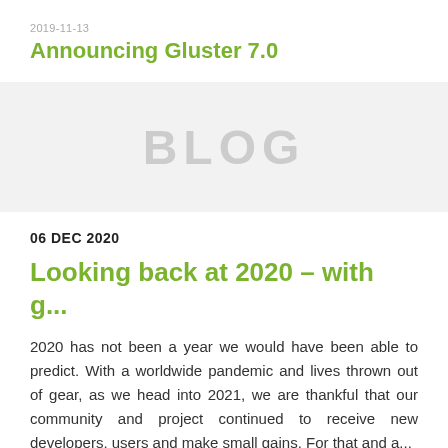2019-11-13
Announcing Gluster 7.0
[Figure (other): BLOG banner text on light gray background]
06 DEC 2020
Looking back at 2020 – with g...
2020 has not been a year we would have been able to predict. With a worldwide pandemic and lives thrown out of gear, as we head into 2021, we are thankful that our community and project continued to receive new developers, users and make small gains. For that and a...
Read more